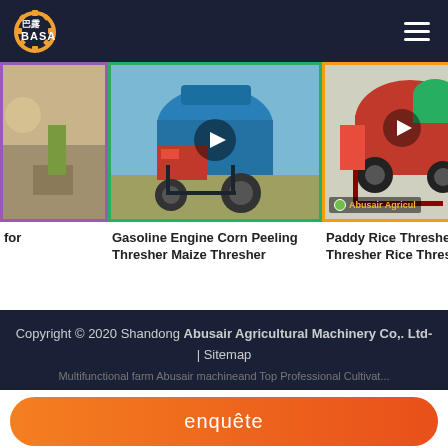[Figure (logo): Basa (巴露) agricultural machinery brand logo with gear icon, white text on dark header]
[Figure (photo): Left product card – partially visible image with purple border, appears to show grain/crop scene]
[Figure (photo): Center product card – blue Gasoline Engine Corn Peeling Thresher Maize Thresher with play button, green border]
[Figure (photo): Right product card – red Paddy Rice Thresher machine with play button and Abusair Agricul badge, orange border]
for
Gasoline Engine Corn Peeling Thresher Maize Thresher
Paddy Rice Thresher Thresher Rice Thres
Copyright © 2020 Shandong Abusair Agricultural Machinery Co,. Ltd- | Sitemap
Multifunctional farm Abusair machineand Top Professional Cultivat...
enquête